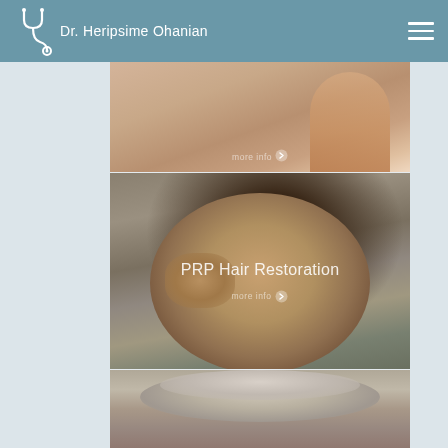Dr. Heripsime Ohanian
[Figure (photo): Partial view of a woman's upper back/shoulder, skin texture visible, with 'more info' link overlay]
[Figure (photo): Young man with dark hair resting hand near face, text overlay reading 'PRP Hair Restoration' with 'more info' link]
[Figure (photo): Partial view of an older man with grey hair, top portion visible]